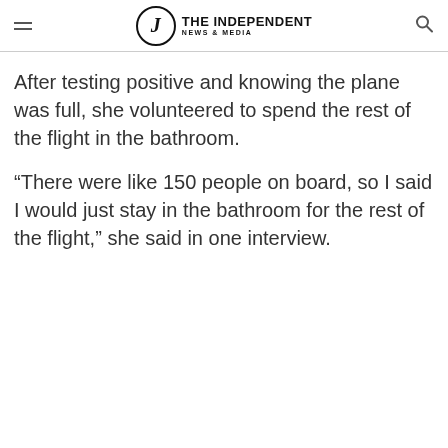THE INDEPENDENT NEWS & MEDIA
After testing positive and knowing the plane was full, she volunteered to spend the rest of the flight in the bathroom.
“There were like 150 people on board, so I said I would just stay in the bathroom for the rest of the flight,” she said in one interview.